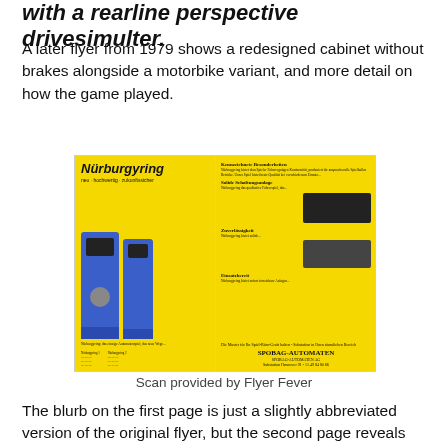with a rearline perspective drivesimulter.
A later flyer from 1979 shows a redesigned cabinet without brakes alongside a motorbike variant, and more detail on how the game played.
[Figure (photo): Scan of a 1979 Nürburgyring arcade cabinet flyer on yellow background, showing two blue arcade cabinets on the left panel and German text with internal component photos on the right panel. Brand: SPOBAG-AUTOMATEN.]
Scan provided by Flyer Fever
The blurb on the first page is just a slightly abbreviated version of the original flyer, but the second page reveals some tangible gameplay detail, even with my clumsy attempt to translate it.